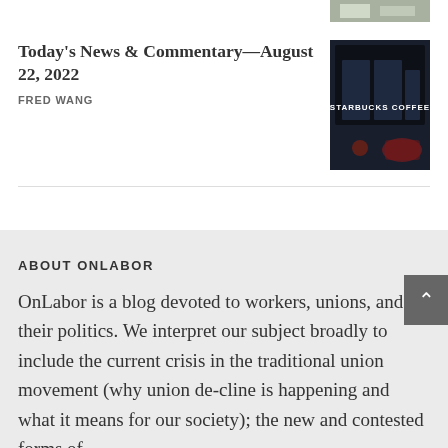[Figure (photo): Partial thumbnail image visible at top right corner]
Today's News & Commentary—August 22, 2022
FRED WANG
[Figure (photo): Dark photo of Starbucks Coffee storefront sign illuminated in white on dark background]
ABOUT ONLABOR
OnLabor is a blog devoted to workers, unions, and their politics. We interpret our subject broadly to include the current crisis in the traditional union movement (why union decline is happening and what it means for our society); the new and contested forms of